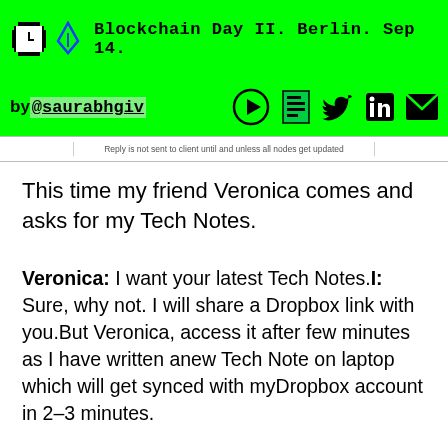Blockchain Day II. Berlin. Sep 14.
by @saurabhgiv
Reply is not sent to client until and unless all nodes get updated
This time my friend Veronica comes and asks for my Tech Notes.
Veronica: I want your latest Tech Notes.I: Sure, why not. I will share a Dropbox link with you.But Veronica, access it after few minutes as I have written anew Tech Note on laptop which will get synced with myDropbox account in 2–3 minutes.